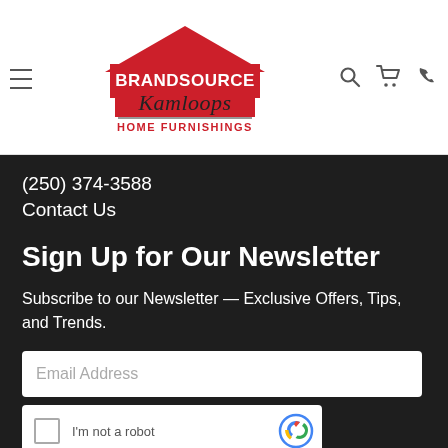[Figure (logo): BrandSource Kamloops Home Furnishings logo with red house roof shape above the text]
(250) 374-3588
Contact Us
Sign Up for Our Newsletter
Subscribe to our Newsletter — Exclusive Offers, Tips, and Trends.